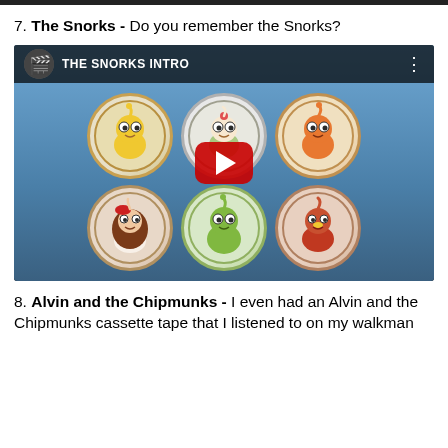7. The Snorks - Do you remember the Snorks?
[Figure (screenshot): YouTube video embed showing 'THE SNORKS INTRO' with six circular cartoon character medallions on a blue background and a red play button in the center]
8. Alvin and the Chipmunks - I even had an Alvin and the Chipmunks cassette tape that I listened to on my walkman